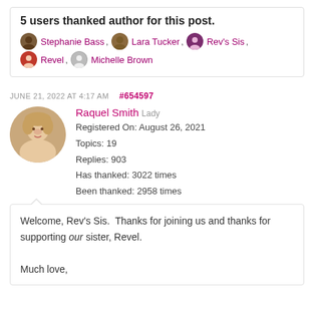5 users thanked author for this post.
Stephanie Bass, Lara Tucker, Rev's Sis, Revel, Michelle Brown
JUNE 21, 2022 AT 4:17 AM  #654597
Raquel Smith  Lady
Registered On: August 26, 2021
Topics: 19
Replies: 903
Has thanked: 3022 times
Been thanked: 2958 times
Welcome, Rev's Sis.  Thanks for joining us and thanks for supporting our sister, Revel.

Much love,